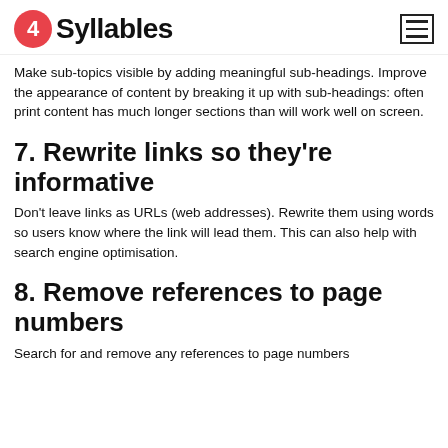4Syllables
Make sub-topics visible by adding meaningful sub-headings. Improve the appearance of content by breaking it up with sub-headings: often print content has much longer sections than will work well on screen.
7. Rewrite links so they're informative
Don't leave links as URLs (web addresses). Rewrite them using words so users know where the link will lead them. This can also help with search engine optimisation.
8. Remove references to page numbers
Search for and remove any references to page numbers within the print content. Add links to the relevant section if